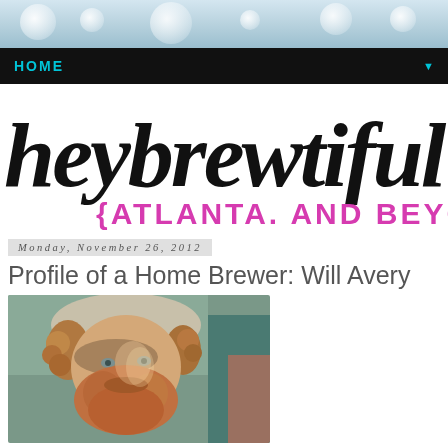[Figure (photo): Bokeh light background header image with soft blue-grey tones and circular blur effects]
HOME
[Figure (logo): Blog logo: 'heybrewtiful' in large black italic script font with '{ATLANTA. AND BEYOND}' in bold pink uppercase letters below]
Monday, November 26, 2012
Profile of a Home Brewer: Will Avery
[Figure (photo): Close-up portrait of a man with a red beard, curly reddish-brown hair, wearing a light-colored knit hat, outdoors with natural light creating a shadow across his face. Background includes a teal/green structure.]